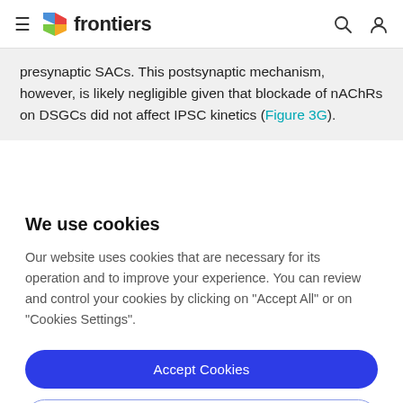frontiers
presynaptic SACs. This postsynaptic mechanism, however, is likely negligible given that blockade of nAChRs on DSGCs did not affect IPSC kinetics (Figure 3G).
We use cookies
Our website uses cookies that are necessary for its operation and to improve your experience. You can review and control your cookies by clicking on "Accept All" or on "Cookies Settings".
Accept Cookies
Cookies Settings